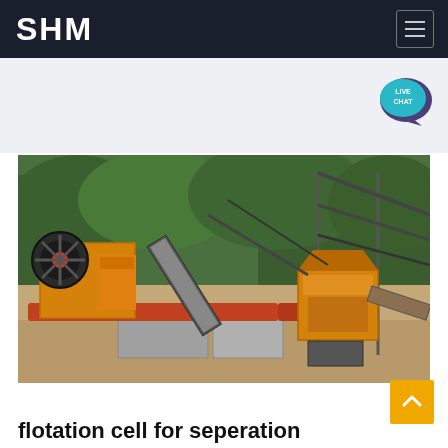SHM
[Figure (screenshot): SHM website screenshot with dark navy navigation bar showing 'SHM' logo on left and hamburger menu icon on right]
[Figure (photo): Outdoor mining/crushing plant with yellow jaw crusher machinery on left, conveyor belts, and yellow impact crusher on right, set against green forested hillside background]
flotation cell for seperation